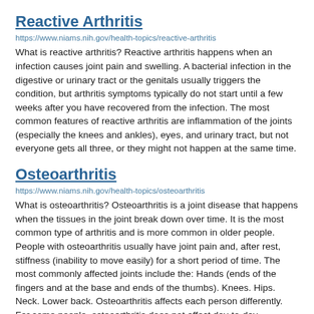Reactive Arthritis
https://www.niams.nih.gov/health-topics/reactive-arthritis
What is reactive arthritis? Reactive arthritis happens when an infection causes joint pain and swelling. A bacterial infection in the digestive or urinary tract or the genitals usually triggers the condition, but arthritis symptoms typically do not start until a few weeks after you have recovered from the infection. The most common features of reactive arthritis are inflammation of the joints (especially the knees and ankles), eyes, and urinary tract, but not everyone gets all three, or they might not happen at the same time.
Osteoarthritis
https://www.niams.nih.gov/health-topics/osteoarthritis
What is osteoarthritis? Osteoarthritis is a joint disease that happens when the tissues in the joint break down over time. It is the most common type of arthritis and is more common in older people. People with osteoarthritis usually have joint pain and, after rest, stiffness (inability to move easily) for a short period of time. The most commonly affected joints include the: Hands (ends of the fingers and at the base and ends of the thumbs). Knees. Hips. Neck. Lower back. Osteoarthritis affects each person differently. For some people, osteoarthritis does not affect day-to-day activities. For